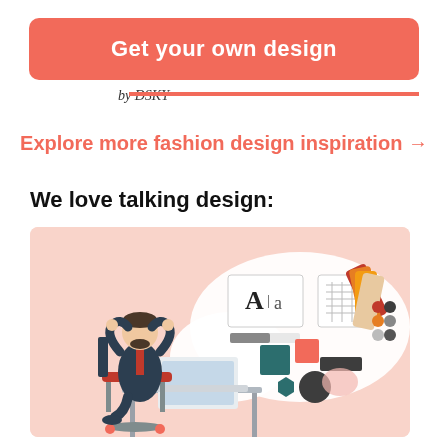Get your own design
by DSKY
Explore more fashion design inspiration →
We love talking design:
[Figure (illustration): Illustration of a man sitting at a desk with a laptop, relaxing with hands behind his head, with a thought bubble showing design elements including typography (A a), color swatches, and shapes on a pink/salmon background.]